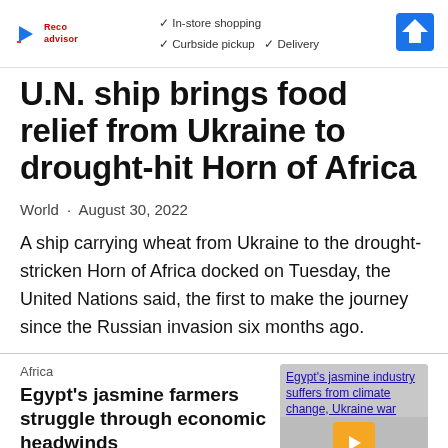[Figure (other): Advertisement banner showing play icon, logo, checkmarks for In-store shopping, Curbside pickup, Delivery, and a blue arrow/directions icon]
U.N. ship brings food relief from Ukraine to drought-hit Horn of Africa
World · August 30, 2022
A ship carrying wheat from Ukraine to the drought-stricken Horn of Africa docked on Tuesday, the United Nations said, the first to make the journey since the Russian invasion six months ago.
Africa
Egypt's jasmine farmers struggle through economic headwinds
Aug [Feedback] 2
[Figure (screenshot): Thumbnail image placeholder with linked text: Egypt's jasmine industry suffers from climate change, Ukraine war, with an orange play button overlay]